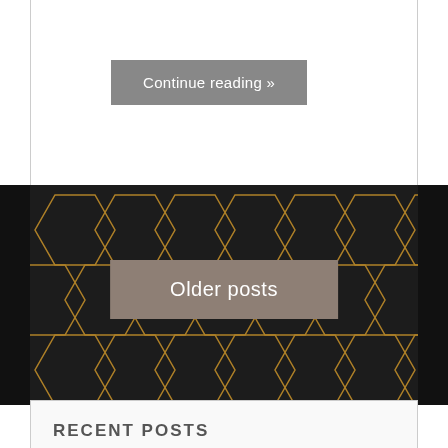Continue reading »
Older posts
RECENT POSTS
The Day of Pink: A call to action to support LGBTQ2+ people in the face of hatred and violence April 12, 2021
For LGBTQ+ people in Waterloo Region, hate crimes have serious mental, physical consequences January 27, 2021
The Whirlpool June 11, 2020